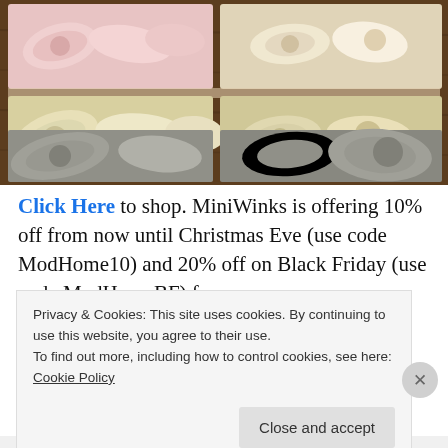[Figure (photo): Overhead flat-lay photo of fabric knot headbands arranged on a wooden surface. Top row shows pink and cream/yellow headbands with bow knots; bottom row shows grey headbands with knots. Colors: pink, cream/yellow, grey.]
Click Here to shop. MiniWinks is offering 10% off from now until Christmas Eve (use code ModHome10) and 20% off on Black Friday (use code ModHomeBF) for my
Privacy & Cookies: This site uses cookies. By continuing to use this website, you agree to their use.
To find out more, including how to control cookies, see here: Cookie Policy
Close and accept